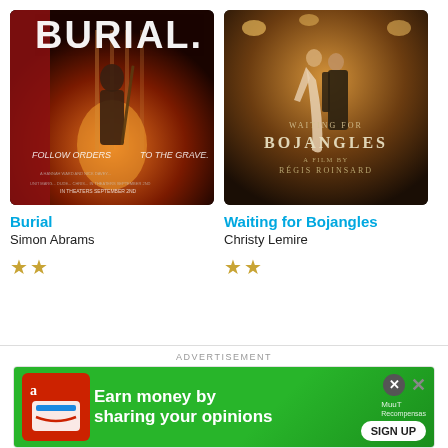[Figure (photo): Movie poster for 'Burial' showing a soldier figure with rifle, red drapes, with text 'FOLLOW ORDERS TO THE GRAVE.']
Burial
Simon Abrams
★★
[Figure (photo): Movie poster for 'Waiting for Bojangles' showing a couple dancing in a warmly lit interior, directed by Régis Roinsard]
Waiting for Bojangles
Christy Lemire
★★
ADVERTISEMENT
[Figure (other): Advertisement banner: green background, Amazon icon, text 'Earn money by sharing your opinions', SIGN UP button, MuuT Recompensas logo, close buttons]